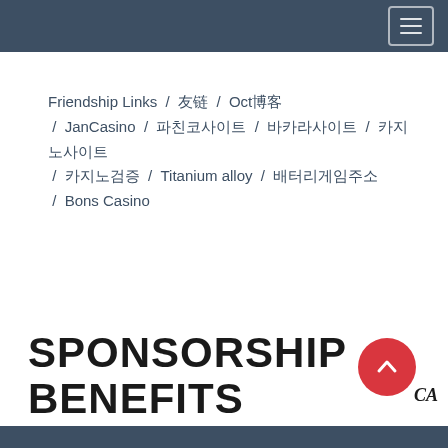[Navigation header with hamburger menu]
Friendship Links / 友链 / Oct博客 / JanCasino / 파친코사이트 / 바카라사이트 / 카지노사이트 / 카지노검증 / Titanium alloy / 배터리게임주소 / Bons Casino
SPONSORSHIP BENEFITS
CA